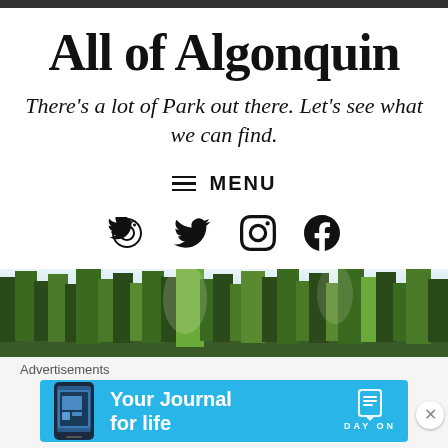All of Algonquin
There's a lot of Park out there. Let's see what we can find.
≡ MENU
[Figure (illustration): Social media icons: Twitter bird, Instagram camera circle, Facebook circle]
[Figure (photo): Forest scene with tall pine trees and bright sky, Algonquin Park]
Advertisements
[Figure (infographic): Blue advertisement banner for Day One app - 'Your Journal for life' with phone graphic and Day One logo]